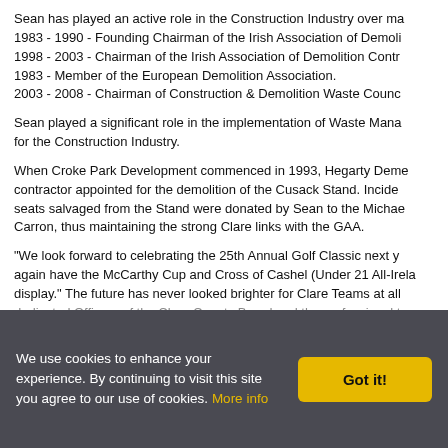Sean has played an active role in the Construction Industry over ma 1983 - 1990 - Founding Chairman of the Irish Association of Demoli 1998 - 2003 - Chairman of the Irish Association of Demolition Contr 1983 - Member of the European Demolition Association. 2003 - 2008 - Chairman of Construction & Demolition Waste Counc
Sean played a significant role in the implementation of Waste Mana for the Construction Industry.
When Croke Park Development commenced in 1993, Hegarty Deme contractor appointed for the demolition of the Cusack Stand. Incide seats salvaged from the Stand were donated by Sean to the Michae Carron, thus maintaining the strong Clare links with the GAA.
"We look forward to celebrating the 25th Annual Golf Classic next y again have the McCarthy Cup and Cross of Cashel (Under 21 All-Irela display." The future has never looked brighter for Clare Teams at all dedicated Officers of the Clare County Board and the professional t
We use cookies to enhance your experience. By continuing to visit this site you agree to our use of cookies. More info